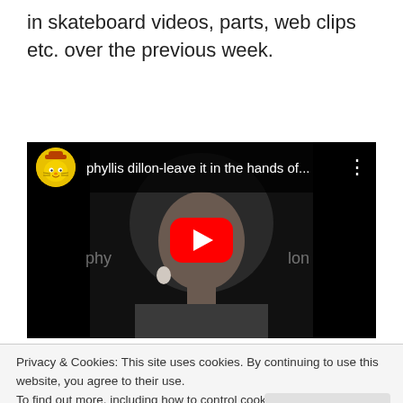in skateboard videos, parts, web clips etc. over the previous week.
[Figure (screenshot): YouTube video embed showing 'phyllis dillon-leave it in the hands of...' with a black and white photo of a woman with an afro, red YouTube play button in the center, and a cartoon avatar thumbnail on the left of the header bar.]
Privacy & Cookies: This site uses cookies. By continuing to use this website, you agree to their use.
To find out more, including how to control cookies, see here: Cookie Policy
Close and accept
move towards the soulful end of the spectrum for a singer